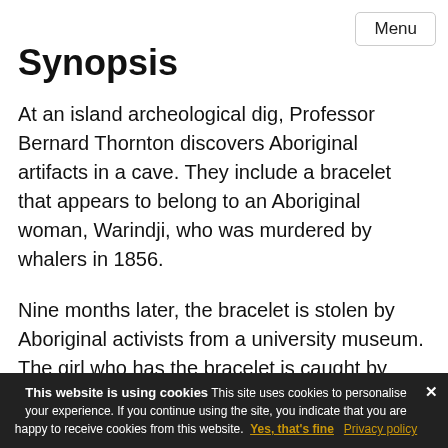Menu
Synopsis
At an island archeological dig, Professor Bernard Thornton discovers Aboriginal artifacts in a cave. They include a bracelet that appears to belong to an Aboriginal woman, Warindji, who was murdered by whalers in 1856.
Nine months later, the bracelet is stolen by Aboriginal activists from a university museum. The girl who has the bracelet is caught by museum guards and beaten half to death. She dies in the hospital, and her attendant doctor is Cathy Thornton, who is the Professor's daughter. Cathy discovers marks on the girl's wrist as if she had worn the
This website is using cookies This site uses cookies to personalise your experience. If you continue using the site, you indicate that you are happy to receive cookies from this website. Yes, that's fine  Privacy policy